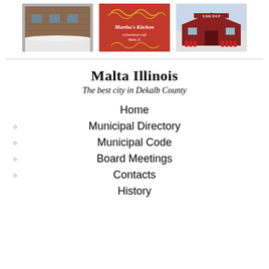[Figure (photo): Photo of a brick building in winter with snow]
[Figure (photo): Martha's Kitchen sign, a downtown cafe in Malta IL, red background with decorative text]
[Figure (photo): Red barn-style building exterior with group of people in red shirts outside]
Malta Illinois
The best city in Dekalb County
Home
Municipal Directory
Municipal Code
Board Meetings
Contacts
History